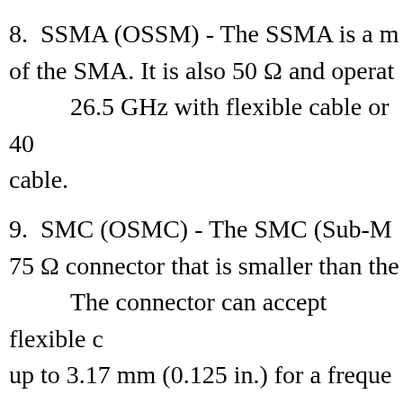8.  SSMA (OSSM) - The SSMA is a m of the SMA. It is also 50 Ω and operat 26.5 GHz with flexible cable or 40 cable.
9.  SMC (OSMC) - The SMC (Sub-M 75 Ω connector that is smaller than the The connector can accept flexible c up to 3.17 mm (0.125 in.) for a freque